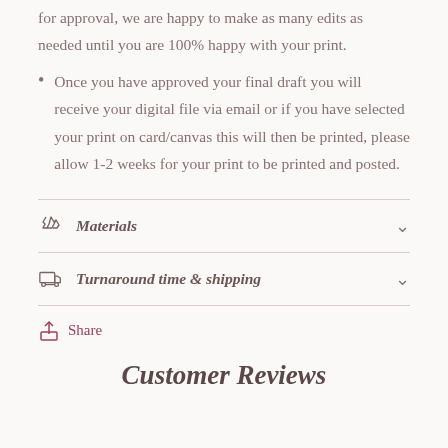for approval, we are happy to make as many edits as needed until you are 100% happy with your print.
Once you have approved your final draft you will receive your digital file via email or if you have selected your print on card/canvas this will then be printed, please allow 1-2 weeks for your print to be printed and posted.
Materials
Turnaround time & shipping
Share
Customer Reviews